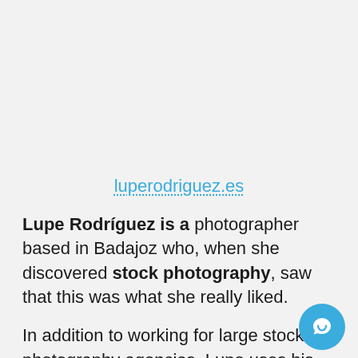luperodriguez.es
Lupe Rodríguez is a photographer based in Badajoz who, when she discovered stock photography, saw that this was what she really liked.
In addition to working for large stock photography agencies, Lupe uses his Arizona-designed website to showcase